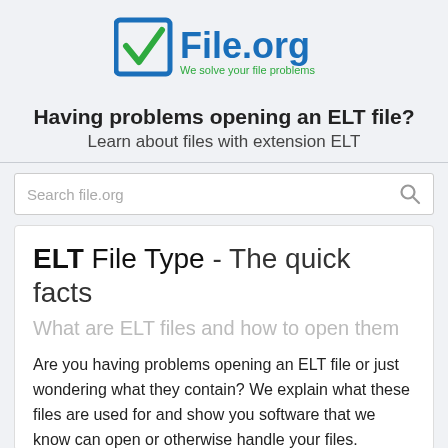[Figure (logo): File.org logo with blue checkbox icon and blue 'File.org' text with green tagline 'We solve your file problems']
Having problems opening an ELT file?
Learn about files with extension ELT
Search file.org
ELT File Type - The quick facts
What are ELT files and how to open them
Are you having problems opening an ELT file or just wondering what they contain? We explain what these files are used for and show you software that we know can open or otherwise handle your files.